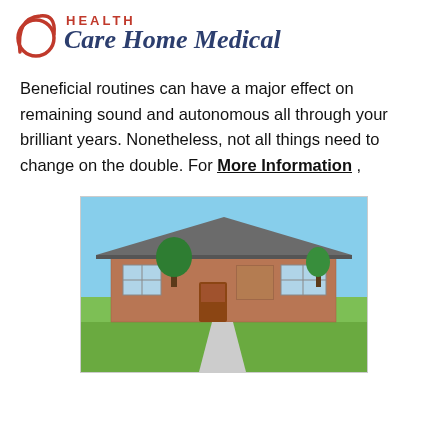HEALTH Care Home Medical
Beneficial routines can have a major effect on remaining sound and autonomous all through your brilliant years. Nonetheless, not all things need to change on the double. For More Information ,
[Figure (photo): Exterior photo of a single-story brick ranch-style house with a lawn, driveway, and trees under a blue sky]